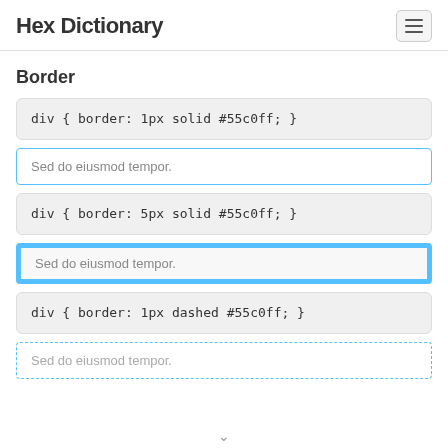Hex Dictionary
Border
div { border: 1px solid #55c0ff; }
Sed do eiusmod tempor.
div { border: 5px solid #55c0ff; }
Sed do eiusmod tempor.
div { border: 1px dashed #55c0ff; }
Sed do eiusmod tempor.